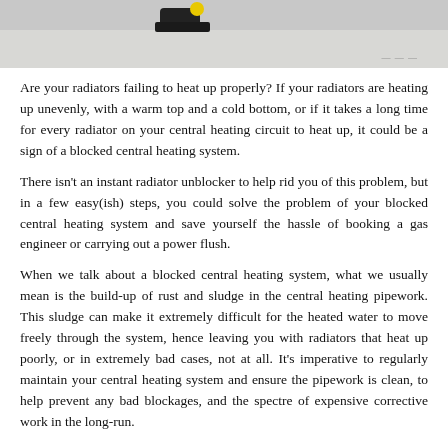[Figure (photo): A photograph showing plumbing/radiator tools on a light surface, with what appears to be a black device and a yellow cap visible in the image.]
Are your radiators failing to heat up properly? If your radiators are heating up unevenly, with a warm top and a cold bottom, or if it takes a long time for every radiator on your central heating circuit to heat up, it could be a sign of a blocked central heating system.
There isn't an instant radiator unblocker to help rid you of this problem, but in a few easy(ish) steps, you could solve the problem of your blocked central heating system and save yourself the hassle of booking a gas engineer or carrying out a power flush.
When we talk about a blocked central heating system, what we usually mean is the build-up of rust and sludge in the central heating pipework. This sludge can make it extremely difficult for the heated water to move freely through the system, hence leaving you with radiators that heat up poorly, or in extremely bad cases, not at all. It's imperative to regularly maintain your central heating system and ensure the pipework is clean, to help prevent any bad blockages, and the spectre of expensive corrective work in the long-run.